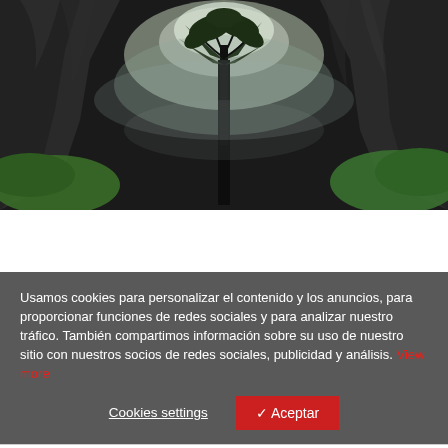[Figure (photo): Fisheye-lens view looking up from inside a deep sinkhole or valley. A tall dark tree with palm-like leaves is at center. Dramatic rocky cliff walls surround the scene, covered in mist and greenery. Bright light visible at the top opening.]
Usamos cookies para personalizar el contenido y los anuncios, para proporcionar funciones de redes sociales y para analizar nuestro tráfico. También compartimos información sobre su uso de nuestro sitio con nuestros socios de redes sociales, publicidad y análisis. View more
Cookies settings
✓ Aceptar
“En una provincia al sur de China, un equipo
Cookies settings